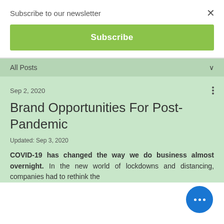Subscribe to our newsletter
×
Subscribe
All Posts
Sep 2, 2020
Brand Opportunities For Post-Pandemic
Updated: Sep 3, 2020
COVID-19 has changed the way we do business almost overnight. In the new world of lockdowns and distancing, companies had to rethink the